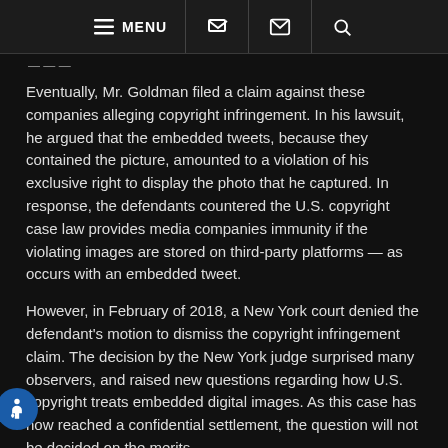MENU [phone] [email] [search]
...
Eventually, Mr. Goldman filed a claim against these companies alleging copyright infringement. In his lawsuit, he argued that the embedded tweets, because they contained the picture, amounted to a violation of his exclusive right to display the photo that he captured. In response, the defendants countered the U.S. copyright case law provides media companies immunity if the violating images are stored on third-party platforms — as occurs with an embedded tweet.
However, in February of 2018, a New York court denied the defendant's motion to dismiss the copyright infringement claim. The decision by the New York judge surprised many observers, and raised new questions regarding how U.S. copyright treats embedded digital images. As this case has now reached a confidential settlement, the question will not be decided on the merits.
A Major Copyright Issue is Still Unresolved